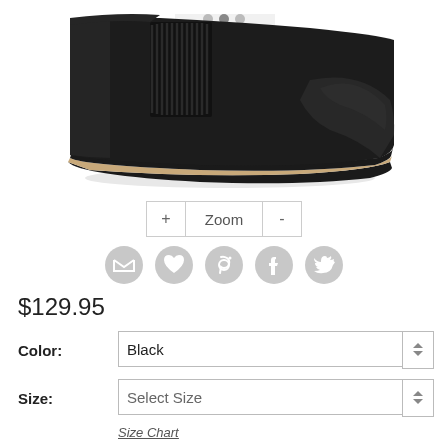[Figure (photo): Close-up photo of a black leather Chelsea boot with elastic side panel and tan/black layered sole on white background]
+ Zoom -
[Figure (infographic): Row of five social media icons (email, heart/wishlist, Pinterest, Facebook, Twitter) in gray circle style]
$129.95
Color: Black
Size: Select Size
Size Chart